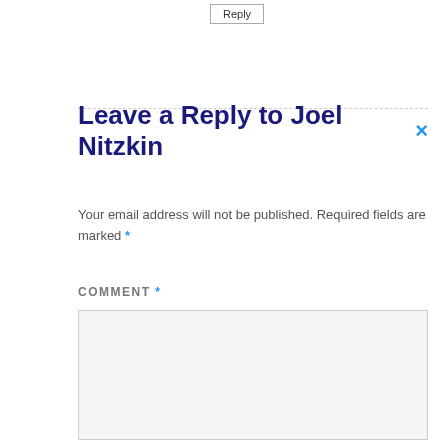Reply
Leave a Reply to Joel Nitzkin ×
Your email address will not be published. Required fields are marked *
COMMENT *
[Figure (other): Empty comment text area input box with light gray background]